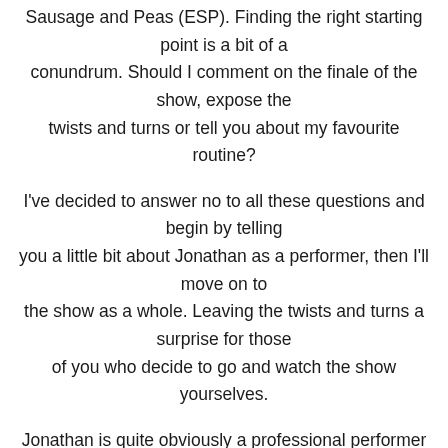Sausage and Peas (ESP). Finding the right starting point is a bit of a conundrum. Should I comment on the finale of the show, expose the twists and turns or tell you about my favourite routine?
I've decided to answer no to all these questions and begin by telling you a little bit about Jonathan as a performer, then I'll move on to the show as a whole. Leaving the twists and turns a surprise for those of you who decide to go and watch the show yourselves.
Jonathan is quite obviously a professional performer who has put a lot of effort into designing his on stage persona. From the